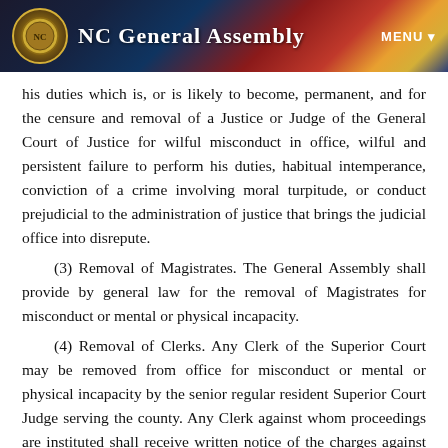NC General Assembly  MENU
his duties which is, or is likely to become, permanent, and for the censure and removal of a Justice or Judge of the General Court of Justice for wilful misconduct in office, wilful and persistent failure to perform his duties, habitual intemperance, conviction of a crime involving moral turpitude, or conduct prejudicial to the administration of justice that brings the judicial office into disrepute.
(3) Removal of Magistrates. The General Assembly shall provide by general law for the removal of Magistrates for misconduct or mental or physical incapacity.
(4) Removal of Clerks. Any Clerk of the Superior Court may be removed from office for misconduct or mental or physical incapacity by the senior regular resident Superior Court Judge serving the county. Any Clerk against whom proceedings are instituted shall receive written notice of the charges against him at least 10 days before the hearing upon the charges. Any Clerk so removed from office shall be entitled to an appeal as provided